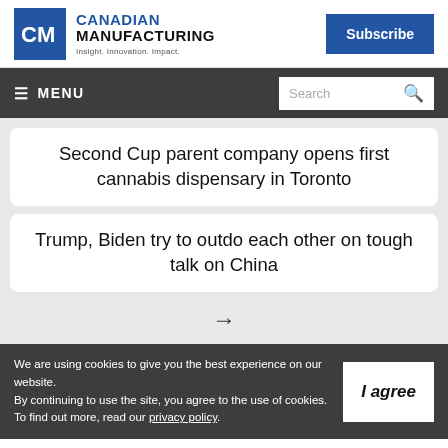Canadian Manufacturing — Insight. Innovation. Impact. | Subscribe
≡ MENU | Search
Second Cup parent company opens first cannabis dispensary in Toronto
Trump, Biden try to outdo each other on tough talk on China
→
We are using cookies to give you the best experience on our website.
By continuing to use the site, you agree to the use of cookies.
To find out more, read our privacy policy.